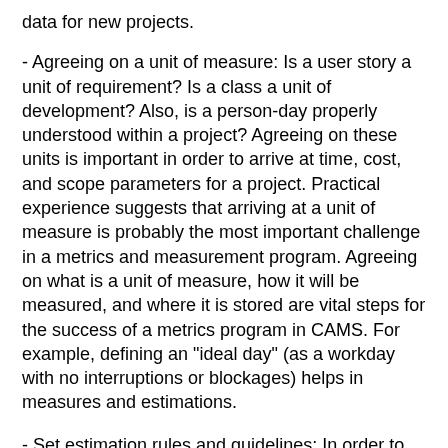data for new projects.
- Agreeing on a unit of measure: Is a user story a unit of requirement? Is a class a unit of development? Also, is a person-day properly understood within a project? Agreeing on these units is important in order to arrive at time, cost, and scope parameters for a project. Practical experience suggests that arriving at a unit of measure is probably the most important challenge in a metrics and measurement program. Agreeing on what is a unit of measure, how it will be measured, and where it is stored are vital steps for the success of a metrics program in CAMS. For example, defining an "ideal day" (as a workday with no interruptions or blockages) helps in measures and estimations.
- Set estimation rules and guidelines: In order to have a successful metrics program it is important to have a suite of rules and associated guidelines for their use. The previous point, in terms of setting a basic unit of measure, is augmented here through the rules to measure that unit. The differences in individuals, team structures, project dynamics, risks, and expectations, all play a role in estimations and